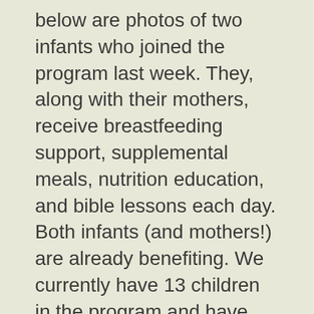below are photos of two infants who joined the program last week. They, along with their mothers, receive breastfeeding support, supplemental meals, nutrition education, and bible lessons each day. Both infants (and mothers!) are already benefiting. We currently have 13 children in the program and have graduated a few dozen over the past year. Praise God! To read more about this project, click here.